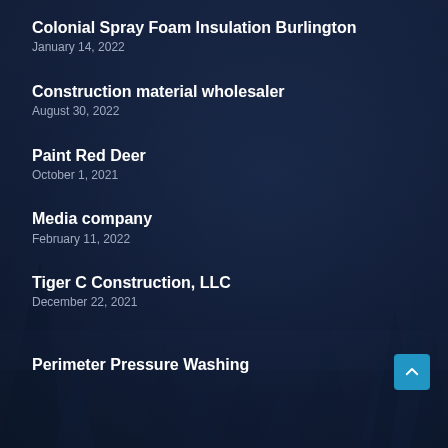Colonial Spray Foam Insulation Burlington
January 14, 2022
Construction material wholesaler
August 30, 2022
Paint Red Deer
October 1, 2021
Media company
February 11, 2022
Tiger C Construction, LLC
December 22, 2021
Perimeter Pressure Washing